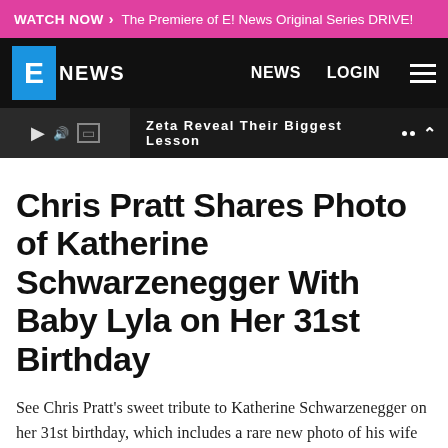WATCH NOW > The Premiere of E! News Original Series DRIVE!
E NEWS  NEWS  LOGIN
[Figure (screenshot): E! News website navigation bar with logo, NEWS and LOGIN links, hamburger menu, and a video strip showing 'Zeta Reveal Their Biggest Lesson']
Chris Pratt Shares Photo of Katherine Schwarzenegger With Baby Lyla on Her 31st Birthday
See Chris Pratt's sweet tribute to Katherine Schwarzenegger on her 31st birthday, which includes a rare new photo of his wife with their baby daughter Lyla.